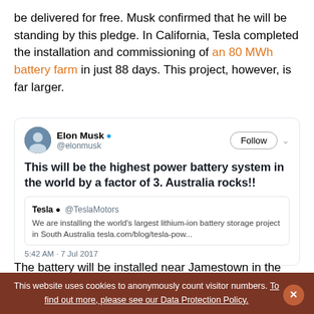be delivered for free. Musk confirmed that he will be standing by this pledge. In California, Tesla completed the installation and commissioning of an 80 MWh battery farm in just 88 days. This project, however, is far larger.
[Figure (screenshot): Embedded tweet from Elon Musk @elonmusk with blue verification check and Follow button. Tweet text: 'This will be the highest power battery system in the world by a factor of 3. Australia rocks!!' Quoted tweet from Tesla @TeslaMotors: 'We are installing the world's largest lithium-ion battery storage project in South Australia tesla.com/blog/tesla-pow...' Timestamp: 5:42 AM - 7 Jul 2017]
The battery will be installed near Jamestown in the mid-
This website uses cookies to anonymously count visitor numbers. To find out more, please see our Data Protection Policy.